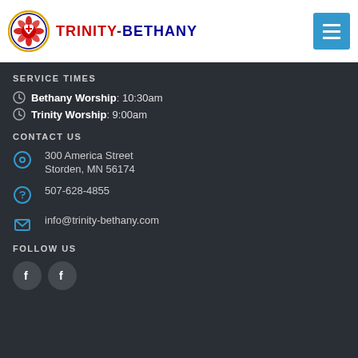[Figure (logo): Trinity-Bethany church logo with circular emblem containing rose and cross symbol, brand text TRINITY-BETHANY in red and navy]
[Figure (other): Blue menu button with three horizontal white lines (hamburger icon)]
SERVICE TIMES
Bethany Worship: 10:30am
Trinity Worship: 9:00am
CONTACT US
300 America Street Storden, MN 56174
507-628-4855
info@trinity-bethany.com
FOLLOW US
[Figure (other): Two Facebook social media circular icon buttons]